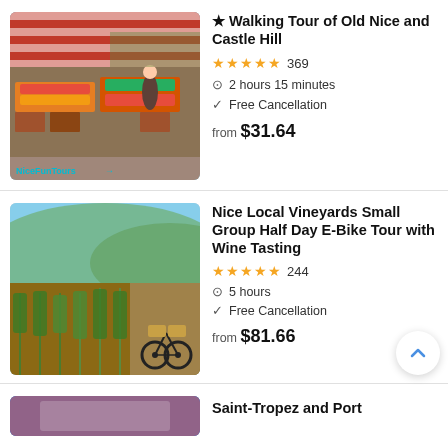[Figure (photo): Outdoor market with red and white striped awnings, fresh produce, people shopping]
★ Walking Tour of Old Nice and Castle Hill
★★★★★ 369
2 hours 15 minutes
Free Cancellation
from $31.64
[Figure (photo): Vineyard rows with bikes in the foreground, green hills in background]
Nice Local Vineyards Small Group Half Day E-Bike Tour with Wine Tasting
★★★★★ 244
5 hours
Free Cancellation
from $81.66
[Figure (photo): Partial listing image with blue background]
Saint-Tropez and Port